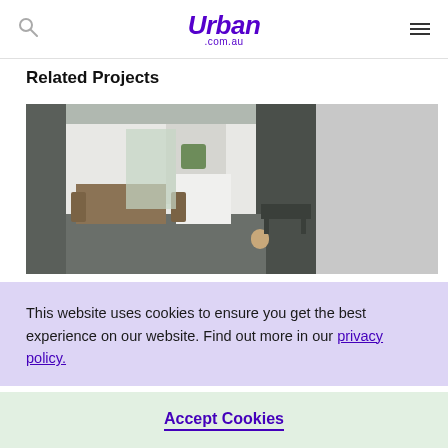Urban .com.au
Related Projects
[Figure (photo): Modern open-plan kitchen and dining area with outdoor patio, dark exterior cladding, large sliding glass doors, marble island bench, wooden dining table with chairs. Right portion shows a grey placeholder panel.]
This website uses cookies to ensure you get the best experience on our website. Find out more in our privacy policy.
Accept Cookies